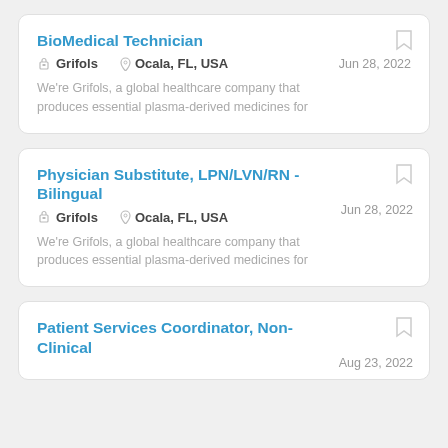BioMedical Technician
Grifols   Ocala, FL, USA   Jun 28, 2022
We're Grifols, a global healthcare company that produces essential plasma-derived medicines for
Physician Substitute, LPN/LVN/RN - Bilingual
Jun 28, 2022   Grifols   Ocala, FL, USA
We're Grifols, a global healthcare company that produces essential plasma-derived medicines for
Patient Services Coordinator, Non-Clinical
Aug 23, 2022